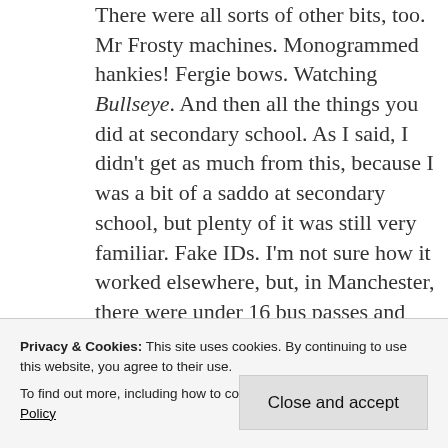There were all sorts of other bits, too. Mr Frosty machines. Monogrammed hankies! Fergie bows. Watching Bullseye. And then all the things you did at secondary school. As I said, I didn't get as much from this, because I was a bit of a saddo at secondary school, but plenty of it was still very familiar. Fake IDs. I'm not sure how it worked elsewhere, but, in Manchester, there were under 16 bus passes and 16-19 bus passes. Kids aged 13, 14 and 15 would photocopy their birth certificates, change the date with Tippex to make it look as if they were 18, photocopy the copy, and
Privacy & Cookies: This site uses cookies. By continuing to use this website, you agree to their use.
To find out more, including how to control cookies, see here: Cookie Policy
Close and accept